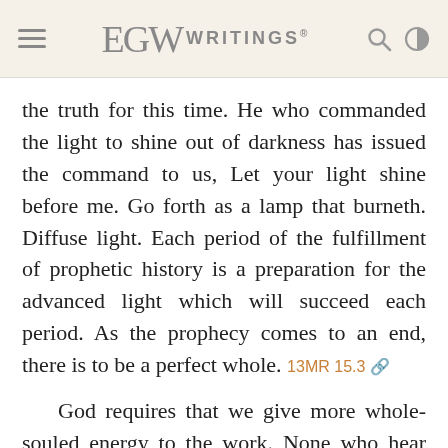EGW WRITINGS®
the truth for this time. He who commanded the light to shine out of darkness has issued the command to us, Let your light shine before me. Go forth as a lamp that burneth. Diffuse light. Each period of the fulfillment of prophetic history is a preparation for the advanced light which will succeed each period. As the prophecy comes to an end, there is to be a perfect whole. 13MR 15.3
God requires that we give more whole-souled energy to the work. None who hear and receive the truth are to refuse to shine. Ye are the light of the world. Kindle your taper from the divine altar, and diffuse light. The inquiry is made, What shall the end of these things be? Christ shall see of the